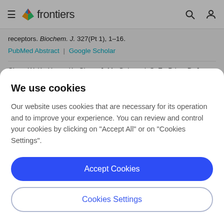frontiers
receptors. Biochem. J. 327(Pt 1), 1–16.
PubMed Abstract | Google Scholar
Chan, W. K., Howe, K., Clegg, J. M., Guimond, S. E., Price, D. J., Turnbull, J. E., et al. (2015). 2-O heparan sulfate sulfation by Hs2st
We use cookies
Our website uses cookies that are necessary for its operation and to improve your experience. You can review and control your cookies by clicking on "Accept All" or on "Cookies Settings".
Accept Cookies
Cookies Settings